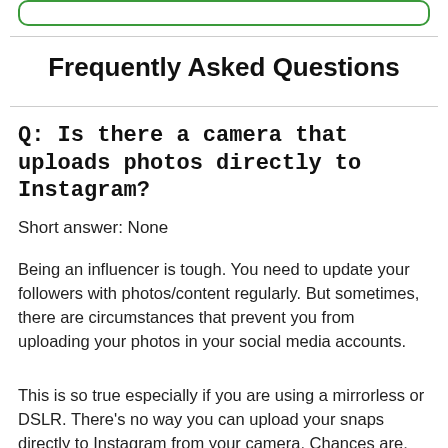[Figure (other): Green rounded rectangle bar at top of page]
Frequently Asked Questions
Q: Is there a camera that uploads photos directly to Instagram?
Short answer: None
Being an influencer is tough. You need to update your followers with photos/content regularly. But sometimes, there are circumstances that prevent you from uploading your photos in your social media accounts.
This is so true especially if you are using a mirrorless or DSLR. There's no way you can upload your snaps directly to Instagram from your camera. Chances are, you don't always bring a laptop with you to transfer